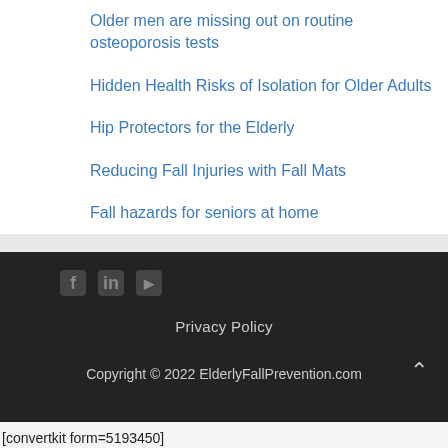Older men are missing out on routine osteoporosis tests
Hidden Health Risks of Isolation for Older Adults
Hip Protectors for the Elderly
Reducing Fall Injuries with Fall Mats
Fall hazards for seniors at home
Privacy Policy
Copyright © 2022 ElderlyFallPrevention.com
[convertkit form=5193450]